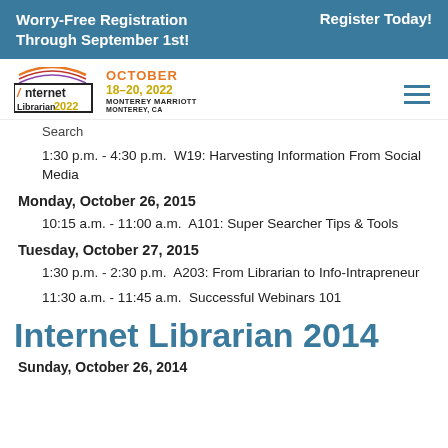Worry-Free Registration Through September 1st!  Register Today!
[Figure (logo): Internet Librarian 2022 logo with October 18-20, 2022 Monterey Marriott, Monterey, CA]
Search
1:30 p.m. - 4:30 p.m.  W19: Harvesting Information From Social Media
Monday, October 26, 2015
10:15 a.m. - 11:00 a.m.  A101: Super Searcher Tips & Tools
Tuesday, October 27, 2015
1:30 p.m. - 2:30 p.m.  A203: From Librarian to Info-Intrapreneur
11:30 a.m. - 11:45 a.m.  Successful Webinars 101
Internet Librarian 2014
Sunday, October 26, 2014